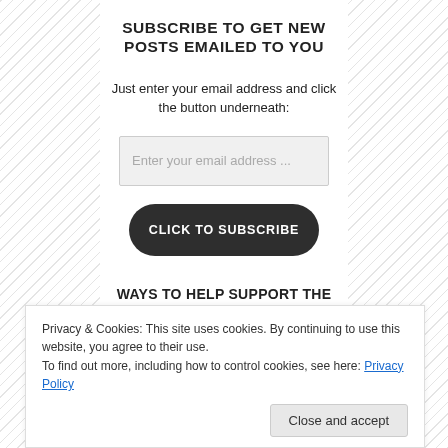SUBSCRIBE TO GET NEW POSTS EMAILED TO YOU
Just enter your email address and click the button underneath:
[Figure (other): Email input field with placeholder text 'Enter your email address ...']
[Figure (other): Dark rounded button labeled 'CLICK TO SUBSCRIBE']
WAYS TO HELP SUPPORT THE SITE:
Privacy & Cookies: This site uses cookies. By continuing to use this website, you agree to their use.
To find out more, including how to control cookies, see here: Privacy Policy
Close and accept
Preferred: Shop the Immortal Ephemera